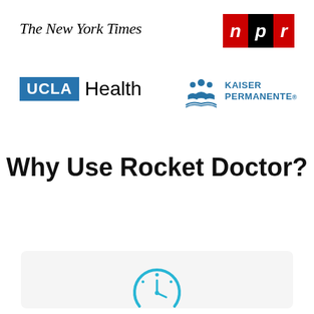[Figure (logo): The New York Times logo in serif italic font]
[Figure (logo): NPR logo with red, black, red colored blocks containing letters n, p, r in white italic]
[Figure (logo): UCLA Health logo with blue UCLA box and Health text]
[Figure (logo): Kaiser Permanente logo with blue people icon and blue text]
Why Use Rocket Doctor?
[Figure (illustration): Partial clock/timer icon in blue at bottom of page]